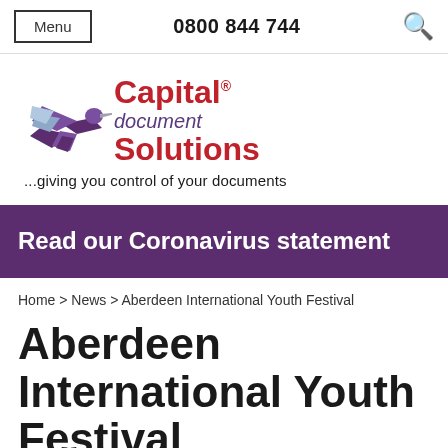Menu | 0800 844 744
[Figure (logo): Capital document Solutions logo with hummingbird and tagline: ...giving you control of your documents]
Read our Coronavirus statement
Home > News > Aberdeen International Youth Festival
Aberdeen International Youth Festival